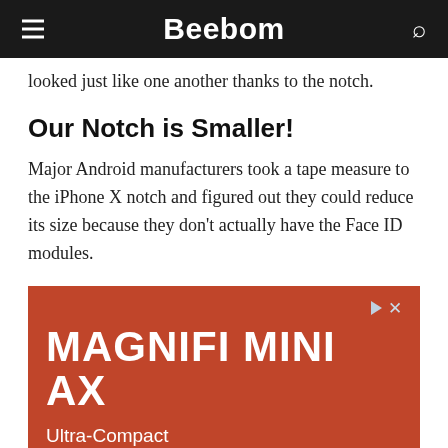Beebom
looked just like one another thanks to the notch.
Our Notch is Smaller!
Major Android manufacturers took a tape measure to the iPhone X notch and figured out they could reduce its size because they don't actually have the Face ID modules.
[Figure (other): Advertisement banner for MagniFi Mini AX — Ultra-Compact Dolby Atmos Sound Bar, on a terracotta/rust red background with white text.]